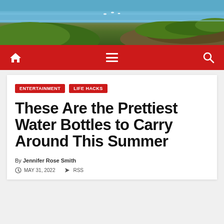[Figure (photo): Coastal landscape with blue ocean water, rocky shoreline, and lush green vegetation in the background serving as hero banner image]
Navigation bar with home icon, hamburger menu, and search icon on red background
ENTERTAINMENT   LIFE HACKS
These Are the Prettiest Water Bottles to Carry Around This Summer
By Jennifer Rose Smith
MAY 31, 2022   RSS